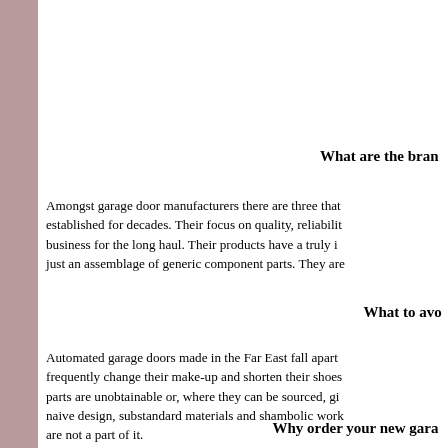What are the brand...
Amongst garage door manufacturers there are three that established for decades. Their focus on quality, reliability business for the long haul. Their products have a truly in just an assemblage of generic component parts. They are
What to avo...
Automated garage doors made in the Far East fall apart frequently change their make-up and shorten their shoes parts are unobtainable or, where they can be sourced, give naive design, substandard materials and shambolic work are not a part of it.
Why order your new garag...